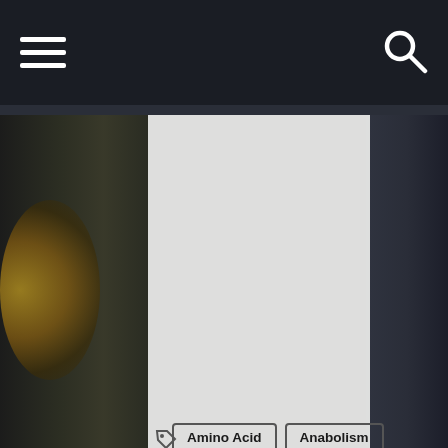Navigation bar with hamburger menu and search icon
[Figure (photo): Dark gym background with weight plates visible on left and right, center panel is light/white. Tags/categories section overlaid on the center-bottom of the image.]
Amino Acid
Anabolism
Biochemistry
Bodybuilders
Bodybuilding
Carbohydrate
Controversial Theories
Feathers
Hypertrophy
Layne Norton
Maximum Growth
Meal Frequency